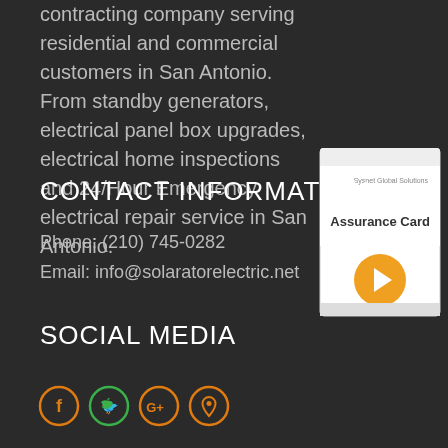contracting company serving residential and commercial customers in San Antonio. From standby generators, electrical panel box upgrades, electrical home inspections and 24/Hour Emergency electrical repair service in San Antonio.
[Figure (other): Sysnet Global Solutions Assurance Card promotional image with orange arrow button]
CONTACT INFORMATION
Phone: (210) 745-0282
Email: info@solaratorelectric.net
SOCIAL MEDIA
[Figure (other): Social media icons: Facebook, Twitter, Google+, and location/map pin, each in orange circle outlines]